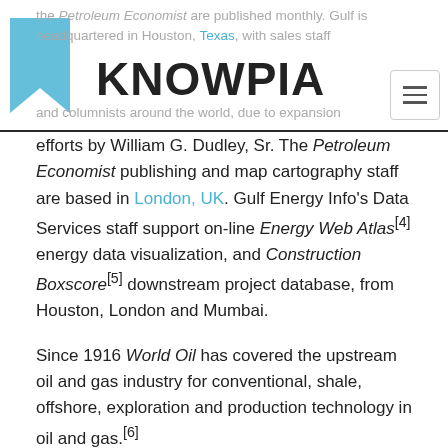the Petroleum Economist are published monthly. Gulf is headquartered in Houston, Texas, with sales staff and columnists around the world, due to expansion
[Figure (logo): KNOWPIA logo with blue book icon on the left]
efforts by William G. Dudley, Sr. The Petroleum Economist publishing and map cartography staff are based in London, UK. Gulf Energy Info's Data Services staff support on-line Energy Web Atlas[4] energy data visualization, and Construction Boxscore[5] downstream project database, from Houston, London and Mumbai.
Since 1916 World Oil has covered the upstream oil and gas industry for conventional, shale, offshore, exploration and production technology in oil and gas.[6]
Since 1922, Hydrocarbon Processing has provid job-relevant information to technical staff, operations, maintenance and management in petroleum refining.